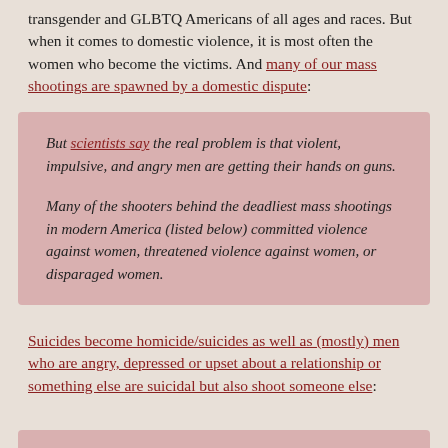transgender and GLBTQ Americans of all ages and races. But when it comes to domestic violence, it is most often the women who become the victims. And many of our mass shootings are spawned by a domestic dispute:
But scientists say the real problem is that violent, impulsive, and angry men are getting their hands on guns.

Many of the shooters behind the deadliest mass shootings in modern America (listed below) committed violence against women, threatened violence against women, or disparaged women.
Suicides become homicide/suicides as well as (mostly) men who are angry, depressed or upset about a relationship or something else are suicidal but also shoot someone else: